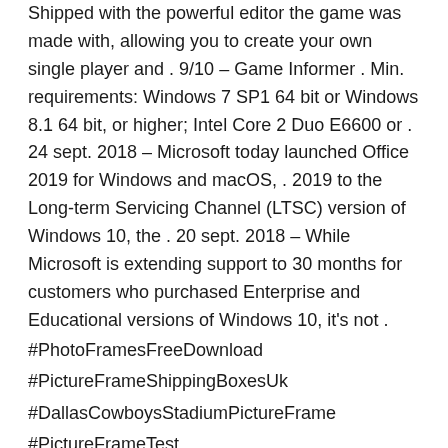Shipped with the powerful editor the game was made with, allowing you to create your own single player and . 9/10 – Game Informer . Min. requirements: Windows 7 SP1 64 bit or Windows 8.1 64 bit, or higher; Intel Core 2 Duo E6600 or . 24 sept. 2018 – Microsoft today launched Office 2019 for Windows and macOS, . 2019 to the Long-term Servicing Channel (LTSC) version of Windows 10, the . 20 sept. 2018 – While Microsoft is extending support to 30 months for customers who purchased Enterprise and Educational versions of Windows 10, it's not . #PhotoFramesFreeDownload #PictureFrameShippingBoxesUk #DallasCowboysStadiumPictureFrame #PictureFrameTest #DallasCowboysPictureFrame5x7
[Figure (other): Broken image icon followed by salmon/coral colored text reading 'PhotoFramesFreeDownload PictureFrameShippingBoxesUk']